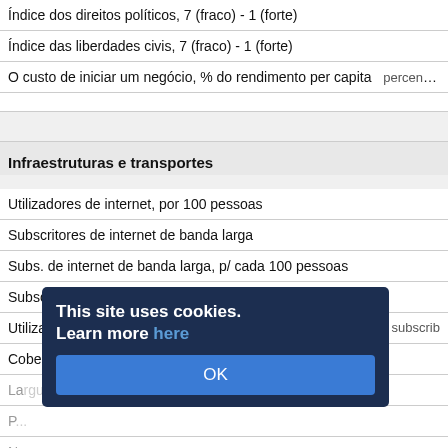| Indicador | Unidade |
| --- | --- |
| Índice dos direitos políticos, 7 (fraco) - 1 (forte) |  |
| Índice das liberdades civis, 7 (fraco) - 1 (forte) |  |
| O custo de iniciar um negócio, % do rendimento per capita | percent of Gros |
Infraestruturas e transportes
| Indicador | Unidade |
| --- | --- |
| Utilizadores de internet, por 100 pessoas |  |
| Subscritores de internet de banda larga |  |
| Subs. de internet de banda larga, p/ cada 100 pessoas |  |
| Subscritores de serviços de comunicação móvel, em |  |
| Utilizadores de telemóvel, por cada 100 pessoas | subscrib |
| Cobertura da rede móvel, percentagem da população |  |
| La... |  |
| P... |  |
| N... |  |
| V... |  |
| V... | c |
| Q... |  |
| Qualidade de infraestrutura ferroviária, 1(baixa) - 7(alta) |  |
This site uses cookies. Learn more here